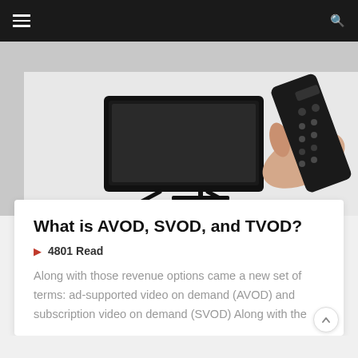Navigation bar with hamburger menu and search icon
[Figure (photo): Hero image showing a black flat-screen TV on a stand with a hand holding a TV remote control against a white/grey background]
What is AVOD, SVOD, and TVOD?
4801 Read
Along with those revenue options came a new set of terms: ad-supported video on demand (AVOD) and subscription video on demand (SVOD) Along with the
Read More